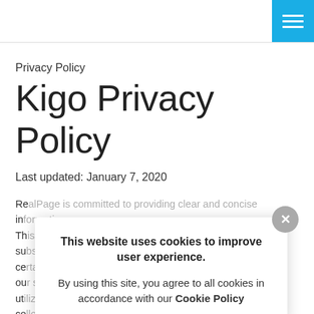Privacy Policy
Kigo Privacy Policy
Last updated: January 7, 2020
RealPage is committed to providing clear and concise information...
This website uses cookies to improve user experience. By using this site, you agree to all cookies in accordance with our Cookie Policy